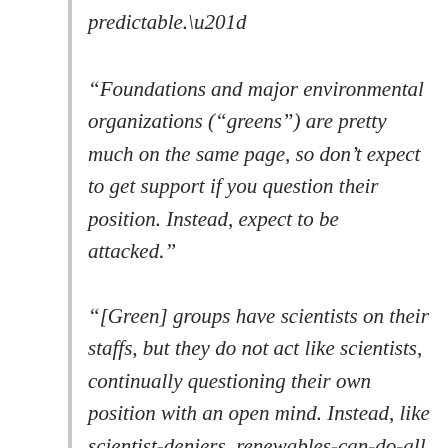predictable.”
“Foundations and major environmental organizations (“greens”) are pretty much on the same page, so don’t expect to get support if you question their position. Instead, expect to be attacked.”
“[Green] groups have scientists on their staffs, but they do not act like scientists, continually questioning their own position with an open mind. Instead, like scientist-deniers, renewables-can-do-all scientists act like talking-head lawyers hired to defend a